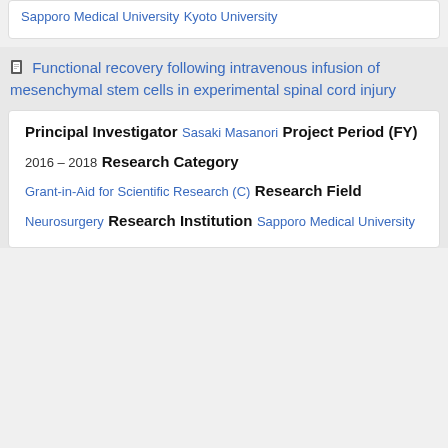Sapporo Medical University
Kyoto University
Functional recovery following intravenous infusion of mesenchymal stem cells in experimental spinal cord injury
Principal Investigator
Sasaki Masanori
Project Period (FY)
2016 – 2018
Research Category
Grant-in-Aid for Scientific Research (C)
Research Field
Neurosurgery
Research Institution
Sapporo Medical University